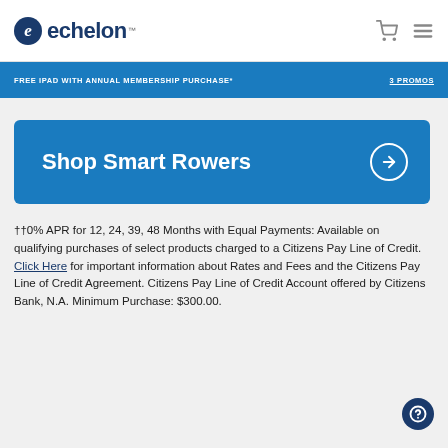echelon
FREE IPAD WITH ANNUAL MEMBERSHIP PURCHASE*   3 PROMOS
[Figure (other): Shop Smart Rowers blue banner with arrow icon]
††0% APR for 12, 24, 39, 48 Months with Equal Payments: Available on qualifying purchases of select products charged to a Citizens Pay Line of Credit. Click Here for important information about Rates and Fees and the Citizens Pay Line of Credit Agreement. Citizens Pay Line of Credit Account offered by Citizens Bank, N.A. Minimum Purchase: $300.00.